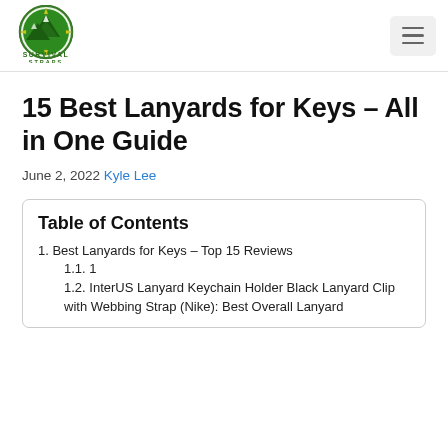[Figure (logo): Survival Straps logo: green compass with mountain graphic, text SURVIVAL STRAPS below]
15 Best Lanyards for Keys – All in One Guide
June 2, 2022 Kyle Lee
Table of Contents
1. Best Lanyards for Keys – Top 15 Reviews
1.1. 1
1.2. InterUS Lanyard Keychain Holder Black Lanyard Clip with Webbing Strap (Nike): Best Overall Lanyard